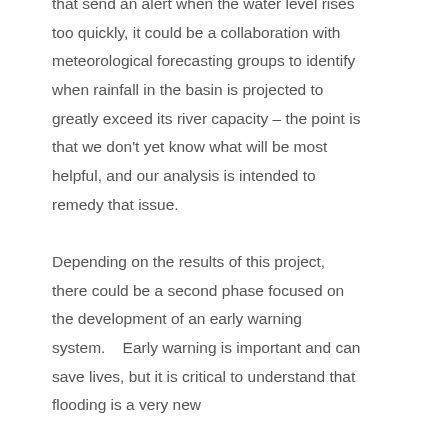that send an alert when the water level rises too quickly, it could be a collaboration with meteorological forecasting groups to identify when rainfall in the basin is projected to greatly exceed its river capacity – the point is that we don't yet know what will be most helpful, and our analysis is intended to remedy that issue. Depending on the results of this project, there could be a second phase focused on the development of an early warning system.   Early warning is important and can save lives, but it is critical to understand that flooding is a very new